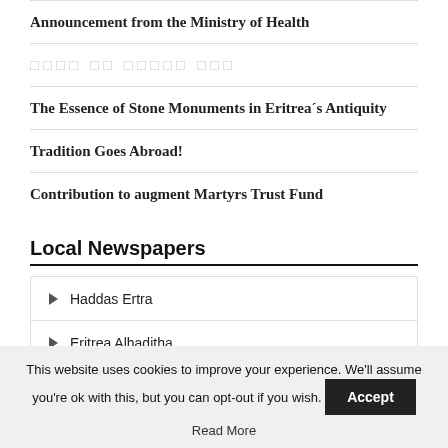Announcement from the Ministry of Health
□□□□ □□ □□□□□ □□□
The Essence of Stone Monuments in Eritrea´s Antiquity
Tradition Goes Abroad!
Contribution to augment Martyrs Trust Fund
Local Newspapers
Haddas Ertra
Eritrea Alhaditha
This website uses cookies to improve your experience. We'll assume you're ok with this, but you can opt-out if you wish. Accept Read More